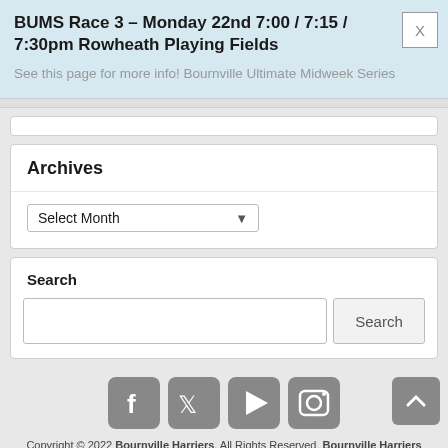BUMS Race 3 – Monday 22nd 7:00 / 7:15 / 7:30pm Rowheath Playing Fields
See this page for more info! Bournville Ultimate Midweek Series
Archives
Select Month
Search
Search
[Figure (other): Social media icons: Facebook, Twitter, YouTube, Instagram]
Copyright © 2022 Bournville Harriers. All Rights Reserved. Bournville Harriers Privacy Policy